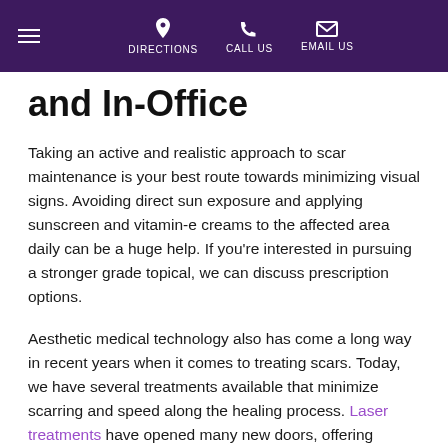DIRECTIONS | CALL US | EMAIL US
and In-Office
Taking an active and realistic approach to scar maintenance is your best route towards minimizing visual signs. Avoiding direct sun exposure and applying sunscreen and vitamin-e creams to the affected area daily can be a huge help. If you're interested in pursuing a stronger grade topical, we can discuss prescription options.
Aesthetic medical technology also has come a long way in recent years when it comes to treating scars. Today, we have several treatments available that minimize scarring and speed along the healing process. Laser treatments have opened many new doors, offering patients a clear road towards less visible scarring.
In particular, vascular laser treatments are quite effective in reducing a variety of skin concerns. Treatments not only